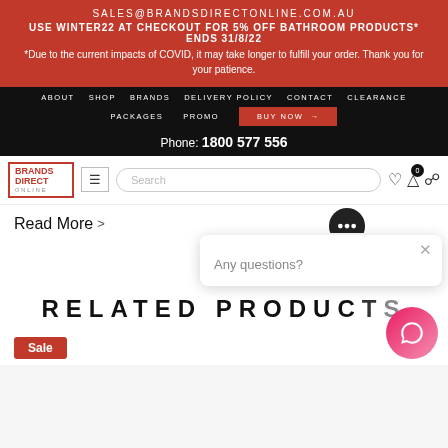SALES@BRANDSDIRECTONLINE.COM.AU
USE WINTER22 AT CHECKOUT FOR 5% OFF BATHROOM PRODUCTS* ENDS 31/8/22
*Due to the current impacts of COVID, it may take longer to fulfill your order. Thank you for your patience.
ABOUT   SHOP   BRANDS   DELIVERY POLICY   CONTACT   CLEARANCE   PACKAGES   PROMO   BUY NOW   Phone: 1800 577 556
[Figure (logo): Brands Direct Online logo with red house outline]
Search
Read More >
Any questions?
RELATED PRODUCTS
Sale